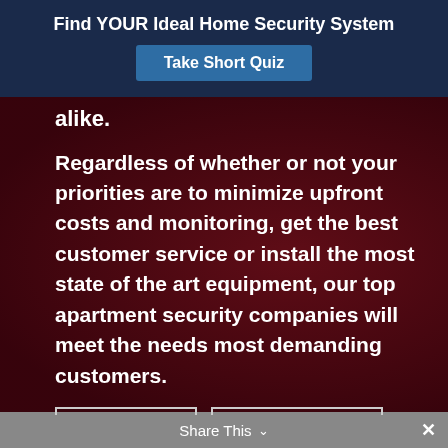Find YOUR Ideal Home Security System
Take Short Quiz
alike.
Regardless of whether or not your priorities are to minimize upfront costs and monitoring, get the best customer service or install the most state of the art equipment, our top apartment security companies will meet the needs most demanding customers.
Top 3
Reviews
Share This